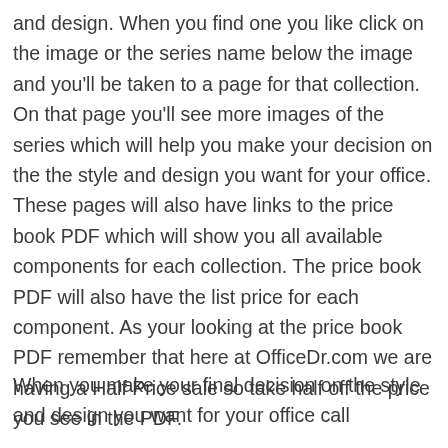and design. When you find one you like click on the image or the series name below the image and you'll be taken to a page for that collection. On that page you'll see more images of the series which will help you make your decision on the the style and design you want for your office. These pages will also have links to the price book PDF which will show you all available components for each collection. The price book PDF will also have the list price for each component. As your looking at the price book PDF remember that here at OfficeDr.com we are having a Half Price sale so take half off the price you see in the PDF.
When you make your final decision on the style and design you want for your office call